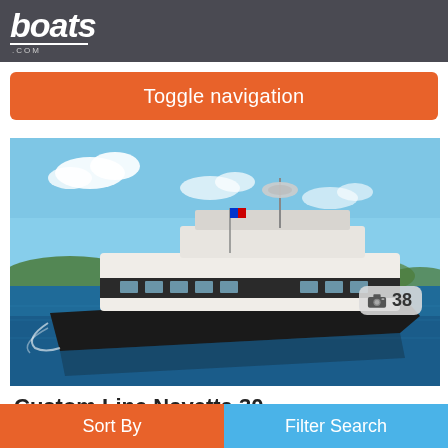boats.com
Toggle navigation
[Figure (photo): A large luxury motor yacht (Custom Line Navetta 30) cruising on calm blue water with islands and sky in background. The yacht has a dark hull and white superstructure. A photo count badge shows a camera icon and the number 38.]
Custom Line Navetta 30
Sort By | Filter Search